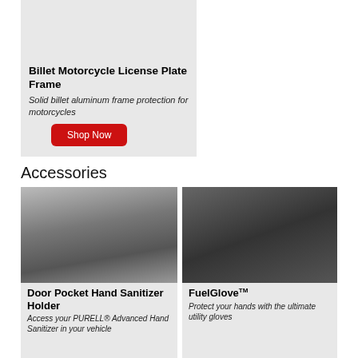[Figure (photo): Billet motorcycle license plate frame product photo showing metal frame on motorcycle]
Billet Motorcycle License Plate Frame
Solid billet aluminum frame protection for motorcycles
Shop Now
Accessories
[Figure (photo): Person accessing door pocket hand sanitizer holder in vehicle door]
Door Pocket Hand Sanitizer Holder
Access your PURELL® Advanced Hand Sanitizer in your vehicle
[Figure (photo): Hand wearing FuelGlove utility glove while pumping gas into car]
FuelGlove™
Protect your hands with the ultimate utility gloves